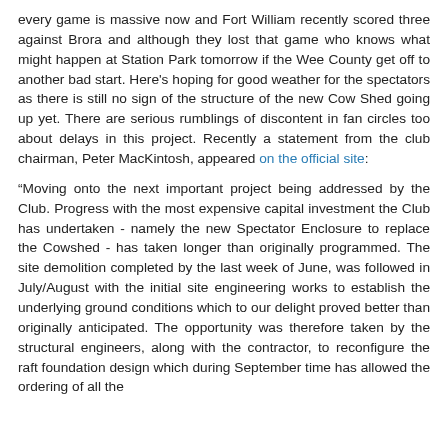every game is massive now and Fort William recently scored three against Brora and although they lost that game who knows what might happen at Station Park tomorrow if the Wee County get off to another bad start. Here's hoping for good weather for the spectators as there is still no sign of the structure of the new Cow Shed going up yet. There are serious rumblings of discontent in fan circles too about delays in this project. Recently a statement from the club chairman, Peter MacKintosh, appeared on the official site:
“Moving onto the next important project being addressed by the Club. Progress with the most expensive capital investment the Club has undertaken - namely the new Spectator Enclosure to replace the Cowshed - has taken longer than originally programmed. The site demolition completed by the last week of June, was followed in July/August with the initial site engineering works to establish the underlying ground conditions which to our delight proved better than originally anticipated. The opportunity was therefore taken by the structural engineers, along with the contractor, to reconfigure the raft foundation design which during September time has allowed the ordering of all the